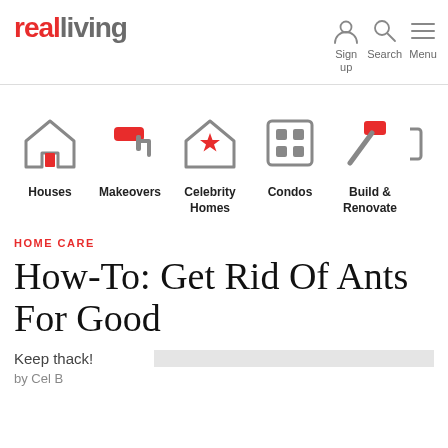realliving — Sign up | Search | Menu
[Figure (infographic): Navigation icons row: Houses (house icon), Makeovers (paint roller icon), Celebrity Homes (house with star icon), Condos (building grid icon), Build & Renovate (hammer icon)]
HOME CARE
How-To: Get Rid Of Ants For Good
Keep th... ack!
by Cel B...